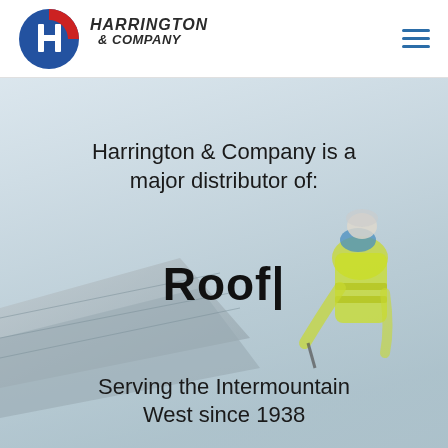[Figure (logo): Harrington & Company circular logo with red and blue colors and stylized H, with company name in bold italic font]
Harrington & Company is a major distributor of:
Roof|
Serving the Intermountain West since 1938